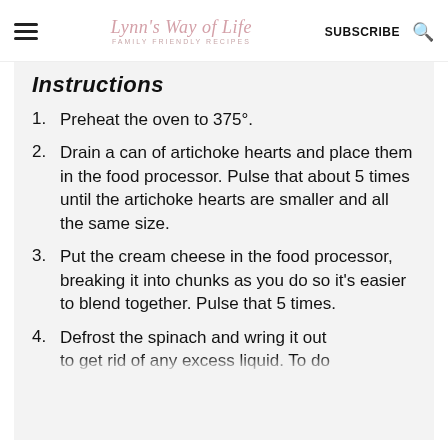Lynn's Way of Life — FAMILY FRIENDLY RECIPES — SUBSCRIBE
Instructions
Preheat the oven to 375°.
Drain a can of artichoke hearts and place them in the food processor. Pulse that about 5 times until the artichoke hearts are smaller and all the same size.
Put the cream cheese in the food processor, breaking it into chunks as you do so it's easier to blend together. Pulse that 5 times.
Defrost the spinach and wring it out to get rid of any excess liquid. To do…